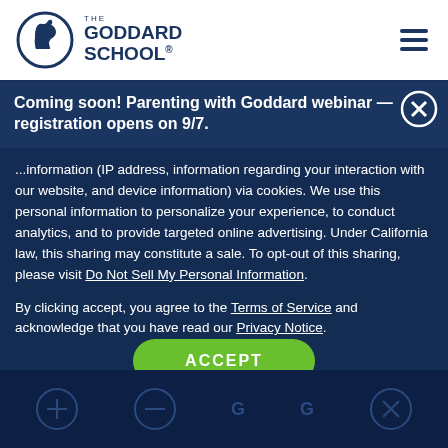[Figure (logo): The Goddard School logo — circular emblem with horse head, plus logotype text THE GODDARD SCHOOL]
Coming soon! Parenting with Goddard webinar — registration opens on 9/7.
...information (IP address, information regarding your interaction with our website, and device information) via cookies. We use this personal information to personalize your experience, to conduct analytics, and to provide targeted online advertising. Under California law, this sharing may constitute a sale. To opt-out of this sharing, please visit Do Not Sell My Personal Information.
By clicking accept, you agree to the Terms of Service and acknowledge that you have read our Privacy Notice.